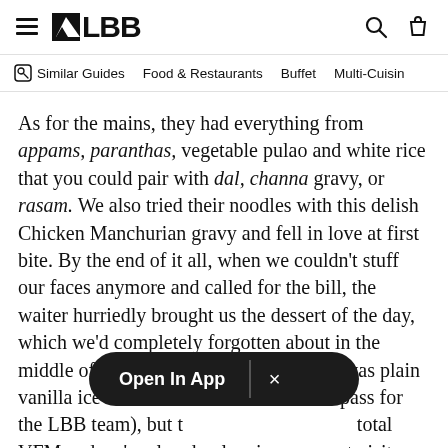LBB
Similar Guides   Food & Restaurants   Buffet   Multi-Cuisine
As for the mains, they had everything from appams, paranthas, vegetable pulao and white rice that you could pair with dal, channa gravy, or rasam. We also tried their noodles with this delish Chicken Manchurian gravy and fell in love at first bite. By the end of it all, when we couldn't stuff our faces anymore and called for the bill, the waiter hurriedly brought us the dessert of the day, which we'd completely forgotten about in the middle of our food coma. On this day, it was plain vanilla ice cream with [a complimentary] pass for the LBB team), but t[he whole experience was a] total VFM and we're already planning our next visit there!